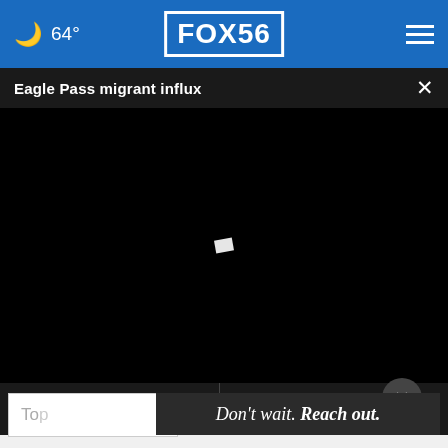64° FOX56
Eagle Pass migrant influx
[Figure (screenshot): Black video player with a small white loading/play indicator in the center]
[Figure (screenshot): Bottom news cards partially visible showing italic white text, close button overlay, Topics search box, and ad banner reading Don't wait. Reach out.]